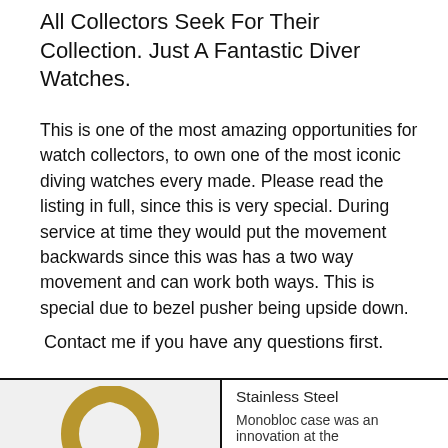All Collectors Seek For Their Collection. Just A Fantastic Diver Watches.
This is one of the most amazing opportunities for watch collectors, to own one of the most iconic diving watches every made. Please read the listing in full, since this is very special. During service at time they would put the movement backwards since this was has a two way movement and can work both ways. This is special due to bezel pusher being upside down.
Contact me if you have any questions first.
| Case |  |
| --- | --- |
|  | Stainless Steel
Monobloc case was an innovation at the |